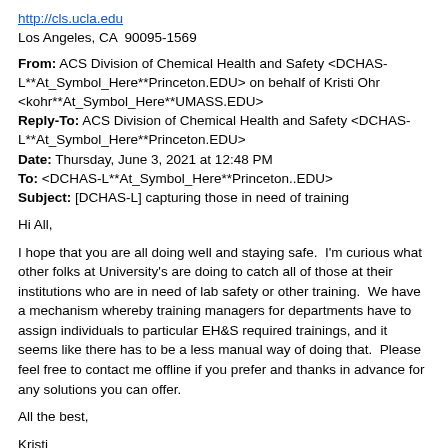http://cls.ucla.edu
Los Angeles, CA  90095-1569
From: ACS Division of Chemical Health and Safety <DCHAS-L**At_Symbol_Here**Princeton.EDU> on behalf of Kristi Ohr <kohr**At_Symbol_Here**UMASS.EDU>
Reply-To: ACS Division of Chemical Health and Safety <DCHAS-L**At_Symbol_Here**Princeton.EDU>
Date: Thursday, June 3, 2021 at 12:48 PM
To: <DCHAS-L**At_Symbol_Here**Princeton..EDU>
Subject: [DCHAS-L] capturing those in need of training
Hi All,
I hope that you are all doing well and staying safe.  I'm curious what other folks at University's are doing to catch all of those at their institutions who are in need of lab safety or other training.  We have a mechanism whereby training managers for departments have to assign individuals to particular EH&S required trainings, and it seems like there has to be a less manual way of doing that.  Please feel free to contact me offline if you prefer and thanks in advance for any solutions you can offer.
All the best,
Kristi